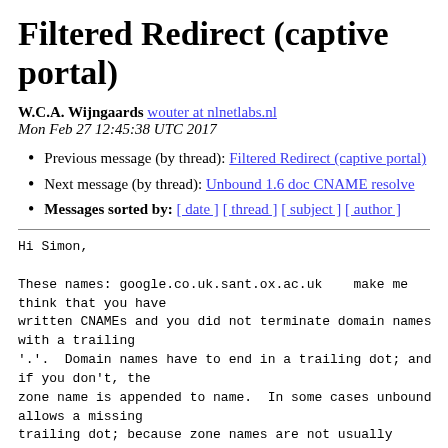Filtered Redirect (captive portal)
W.C.A. Wijngaards wouter at nlnetlabs.nl
Mon Feb 27 12:45:38 UTC 2017
Previous message (by thread): Filtered Redirect (captive portal)
Next message (by thread): Unbound 1.6 doc CNAME resolve
Messages sorted by: [ date ] [ thread ] [ subject ] [ author ]
Hi Simon,

These names: google.co.uk.sant.ox.ac.uk    make me think that you have
written CNAMEs and you did not terminate domain names with a trailing
'.'.  Domain names have to end in a trailing dot; and if you don't, the
zone name is appended to name.  In some cases unbound allows a missing
trailing dot; because zone names are not usually
available.  But for